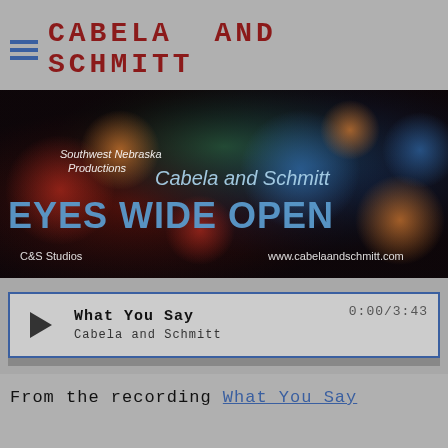CABELA AND SCHMITT
[Figure (illustration): Album cover banner for 'Eyes Wide Open' by Cabela and Schmitt. Dark colorful bokeh background with text: 'Southwest Nebraska Productions', 'Cabela and Schmitt', 'EYES WIDE OPEN', 'C&S Studios', 'www.cabelaandschmitt.com']
What You Say
Cabela and Schmitt
0:00/3:43
From the recording What You Say